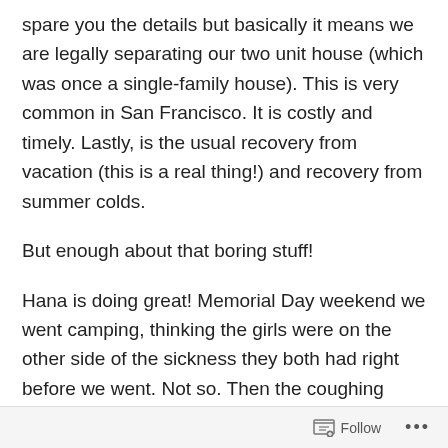spare you the details but basically it means we are legally separating our two unit house (which was once a single-family house). This is very common in San Francisco. It is costly and timely. Lastly, is the usual recovery from vacation (this is a real thing!) and recovery from summer colds.
But enough about that boring stuff!
Hana is doing great! Memorial Day weekend we went camping, thinking the girls were on the other side of the sickness they both had right before we went. Not so. Then the coughing started for both Hana and Corrina. I ended up having to take Hana in for a chest x-ray and a bunch of other tests. Everything came back fine. Paul and I
Follow ···